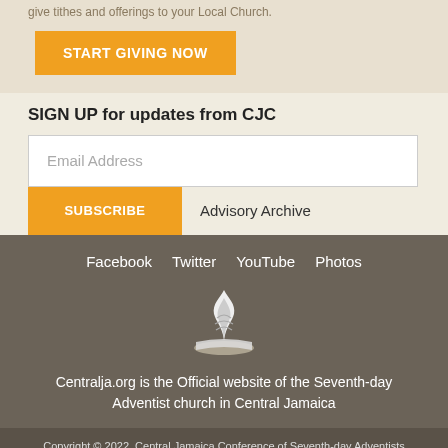give tithes and offerings to your Local Church.
START GIVING NOW
SIGN UP for updates from CJC
Email Address
SUBSCRIBE
Advisory Archive
Facebook   Twitter   YouTube   Photos
[Figure (logo): Seventh-day Adventist flame and book logo in white]
Centralja.org is the Official website of the Seventh-day Adventist church in Central Jamaica
Copyright © 2022, Central Jamaica Conference of Seventh-day Adventists 58 Brunswick Avenue, Spanish Town, St. Catherine, Jamaica, (876) 984-